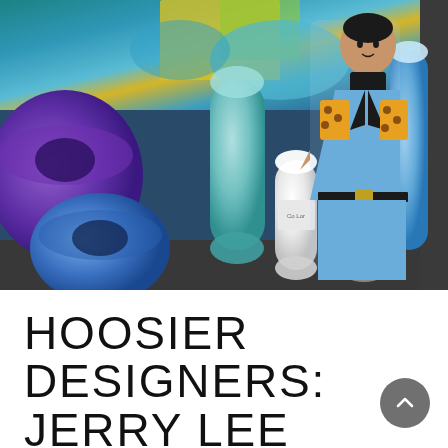[Figure (photo): Close-up photo of colorful thread spools in shades of purple, blue, teal, and white, arranged in a box. A decorative fabric figure of a man wearing a light blue suit with leopard print accents stands among the spools.]
HOOSIER DESIGNERS: JERRY LEE ATWOOD